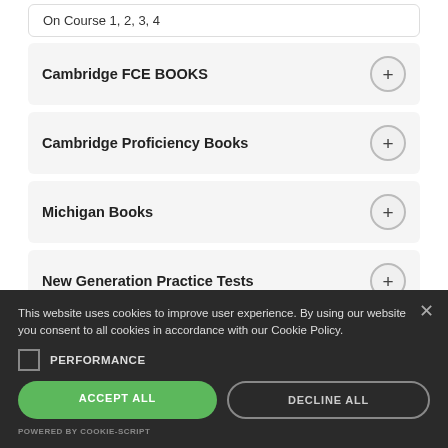On Course 1, 2, 3, 4
Cambridge FCE BOOKS
Cambridge Proficiency Books
Michigan Books
New Generation Practice Tests
Grammar Books
Adult Series
This website uses cookies to improve user experience. By using our website you consent to all cookies in accordance with our Cookie Policy.
PERFORMANCE
ACCEPT ALL
DECLINE ALL
POWERED BY COOKIE-SCRIPT